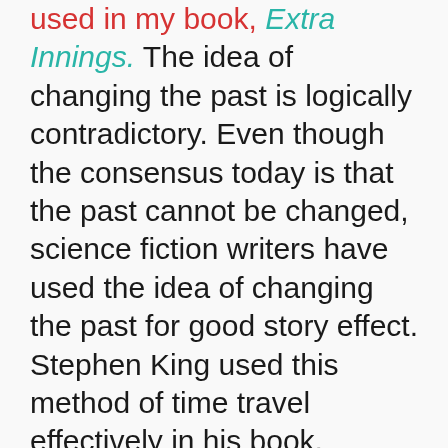used in my book, Extra Innings. The idea of changing the past is logically contradictory. Even though the consensus today is that the past cannot be changed, science fiction writers have used the idea of changing the past for good story effect. Stephen King used this method of time travel effectively in his book, 11/22/63, by having his main character, Jake Epping,